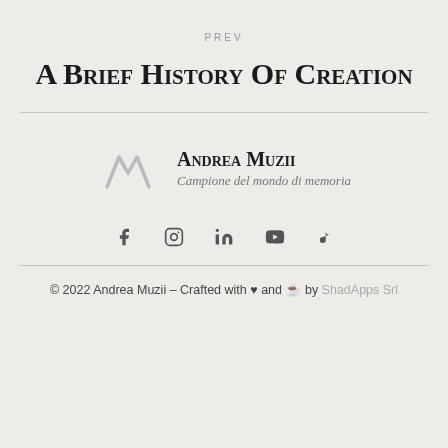PREV
A Brief History Of Creation
Andrea Muzii
Campione del mondo di memoria
[Figure (logo): Stylized M logo in light gray]
[Figure (infographic): Social media icons: Facebook, Instagram, LinkedIn, YouTube, TikTok]
© 2022 Andrea Muzii – Crafted with ♥ and ☕ by ShadApps Srl